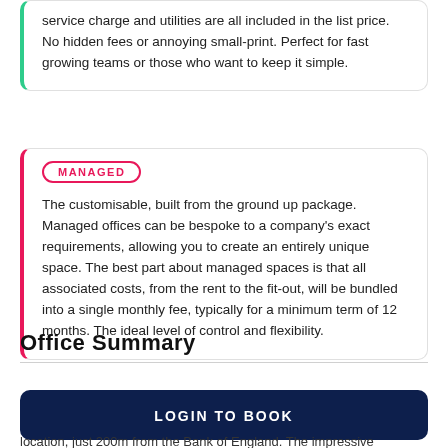service charge and utilities are all included in the list price. No hidden fees or annoying small-print. Perfect for fast growing teams or those who want to keep it simple.
MANAGED
The customisable, built from the ground up package. Managed offices can be bespoke to a company's exact requirements, allowing you to create an entirely unique space. The best part about managed spaces is that all associated costs, from the rent to the fit-out, will be bundled into a single monthly fee, typically for a minimum term of 12 months. The ideal level of control and flexibility.
Office Summary
LOGIN TO BOOK
location, just 200m from the Bank of England. The impressive reception area immediately creates a